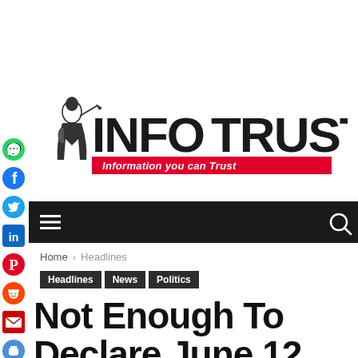[Figure (logo): InfoTrust logo with knight figure, bold INFOTRUST text, and red tagline bar reading 'Information you can Trust']
[Figure (other): Dark navigation bar with hamburger menu icon on left and search icon on right]
Home › Headlines
Headlines  News  Politics
Not Enough To Declare June 12 Democracy Day